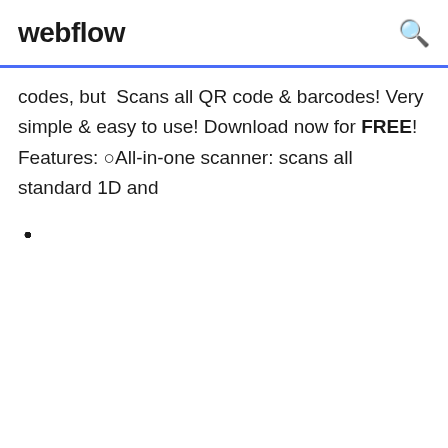webflow
codes, but  Scans all QR code & barcodes! Very simple & easy to use! Download now for FREE! Features: ○All-in-one scanner: scans all standard 1D and